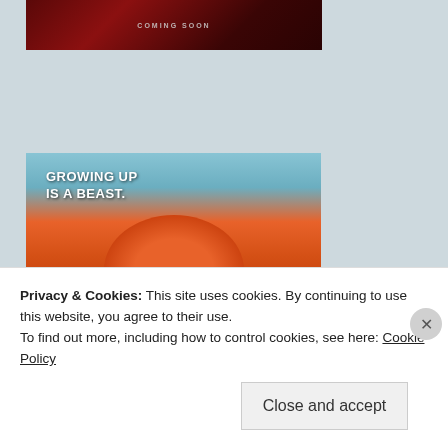[Figure (photo): Movie poster partial showing dark red background with 'COMING SOON' text in light letters]
[Figure (photo): Pixar 'Turning Red' movie promotional image showing an animated red panda with wide eyes and text 'GROWING UP IS A BEAST.']
Privacy & Cookies: This site uses cookies. By continuing to use this website, you agree to their use.
To find out more, including how to control cookies, see here: Cookie Policy
Close and accept